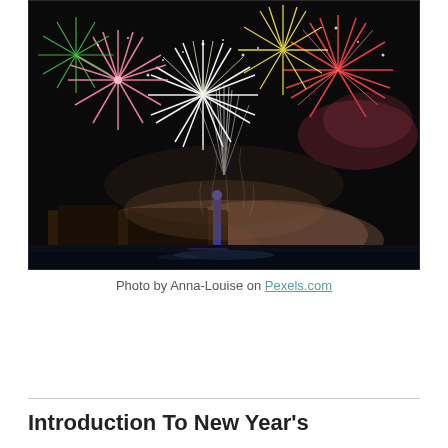[Figure (photo): Fireworks display over a pier at night. Large colorful bursts of fireworks — white, pink, red, green — explode against a dark sky. A pier with buildings is visible at the bottom, with water and smoke below the fireworks launch point.]
Photo by Anna-Louise on Pexels.com
Introduction To New Year's Celebrations around the